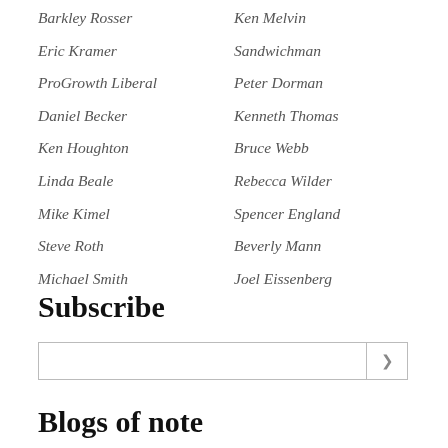Barkley Rosser
Ken Melvin
Eric Kramer
Sandwichman
ProGrowth Liberal
Peter Dorman
Daniel Becker
Kenneth Thomas
Ken Houghton
Bruce Webb
Linda Beale
Rebecca Wilder
Mike Kimel
Spencer England
Steve Roth
Beverly Mann
Michael Smith
Joel Eissenberg
Subscribe
Blogs of note